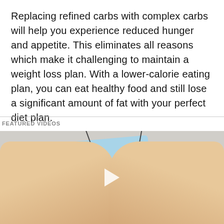Replacing refined carbs with complex carbs will help you experience reduced hunger and appetite. This eliminates all reasons which make it challenging to maintain a weight loss plan. With a lower-calorie eating plan, you can eat healthy food and still lose a significant amount of fat with your perfect diet plan.
FEATURED VIDEOS
[Figure (photo): A video thumbnail showing two hands holding white cylindrical objects (needles/pins) with decorative owl charms, against a light blue card background, with a play button overlay in the center.]